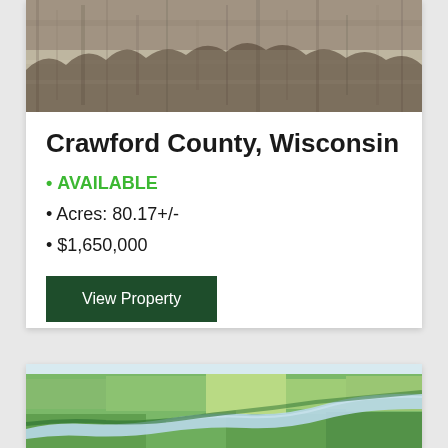[Figure (photo): Aerial or ground-level photo of winter/frost-covered brush and trees in Crawford County, Wisconsin]
Crawford County, Wisconsin
AVAILABLE
Acres: 80.17+/-
$1,650,000
View Property
[Figure (photo): Aerial photo of a river winding through green agricultural fields in Crawford County, Wisconsin]